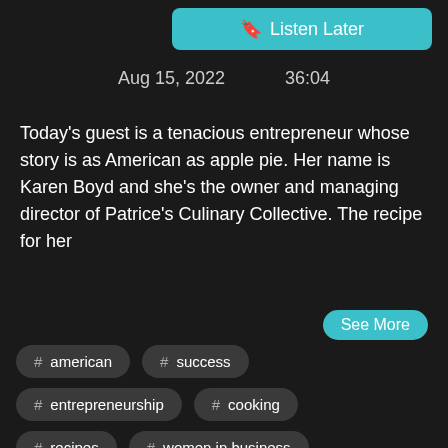Listen Later
Aug 15, 2022   36:04
Today's guest is a tenacious entrepreneur whose story is as American as apple pie. Her name is Karen Boyd and she's the owner and managing director of Patrice's Culinary Collective. The recipe for her
See More
# american
# success
# entrepreneurship
# cooking
# recipes
# women in business
# boyd
# culinary
# sprinkle